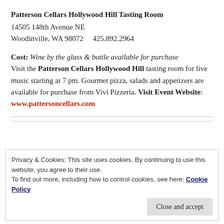Patterson Cellars Hollywood Hill Tasting Room
14505 148th Avenue NE
Woodinville, WA 98072    425.892.2964
Cost: Wine by the glass & bottle available for purchase Visit the Patterson Cellars Hollywood Hill tasting room for live music starting at 7 pm. Gourmet pizza, salads and appetizers are available for purchase from Vivi Pizzeria. Visit Event Website: www.pattersoncellars.com
Privacy & Cookies: This site uses cookies. By continuing to use this website, you agree to their use.
To find out more, including how to control cookies, see here: Cookie Policy